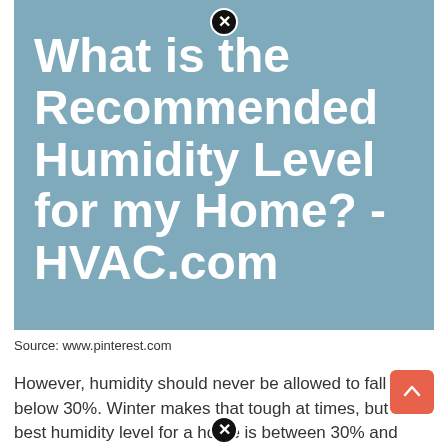[Figure (screenshot): Blue-grey image card with white bold title text: 'What is the Recommended Humidity Level for my Home? - HVAC.com' with a close (X) icon at the top center]
Source: www.pinterest.com
However, humidity should never be allowed to fall below 30%. Winter makes that tough at times, but the best humidity level for a home is between 30% and 50%.